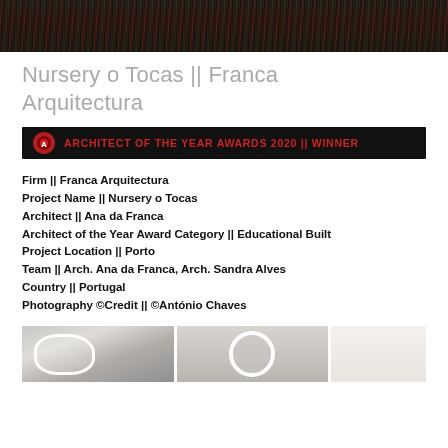[Figure (photo): Night city scene with light trails from traffic, dark road with reflections in rain]
Nursery o Tocas || Franca Arquitectura
[Figure (other): Architect of the Year Awards 2020 || Winner banner with logo on black background]
Firm || Franca Arquitectura
Project Name || Nursery o Tocas
Architect || Ana da Franca
Architect of the Year Award Category || Educational Built
Project Location || Porto
Team || Arch. Ana da Franca, Arch. Sandra Alves
Country || Portugal
Photography ©Credit || ©António Chaves
[Figure (photo): Three photos of the nursery project showing exterior and interior architectural details]